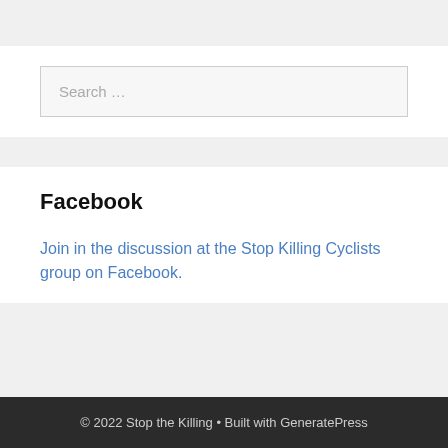Search ...
Facebook
Join in the discussion at the Stop Killing Cyclists group on Facebook.
© 2022 Stop the Killing • Built with GeneratePress